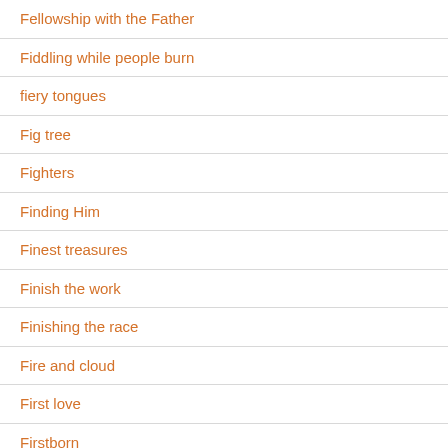Fellowship with the Father
Fiddling while people burn
fiery tongues
Fig tree
Fighters
Finding Him
Finest treasures
Finish the work
Finishing the race
Fire and cloud
First love
Firstborn